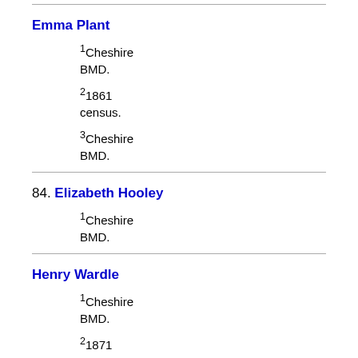BMD.
Emma Plant
1Cheshire BMD.
21861 census.
3Cheshire BMD.
84. Elizabeth Hooley
1Cheshire BMD.
Henry Wardle
1Cheshire BMD.
21871 census.